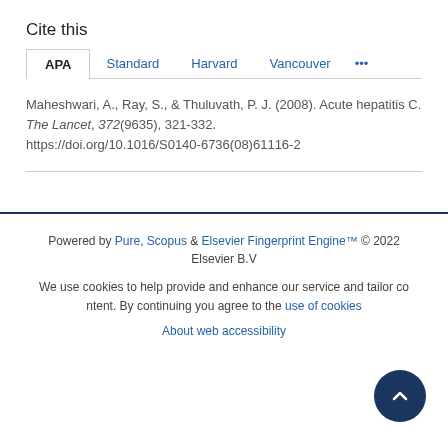Cite this
APA | Standard | Harvard | Vancouver | ...
Maheshwari, A., Ray, S., & Thuluvath, P. J. (2008). Acute hepatitis C. The Lancet, 372(9635), 321-332. https://doi.org/10.1016/S0140-6736(08)61116-2
Powered by Pure, Scopus & Elsevier Fingerprint Engine™ © 2022 Elsevier B.V
We use cookies to help provide and enhance our service and tailor content. By continuing you agree to the use of cookies
About web accessibility